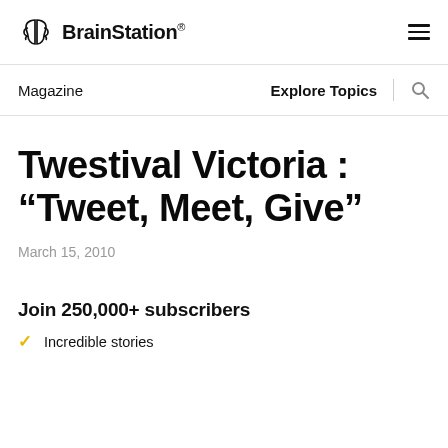BrainStation®
Magazine | Explore Topics
Twestival Victoria : “Tweet, Meet, Give”
March 15, 2010
Join 250,000+ subscribers
Incredible stories